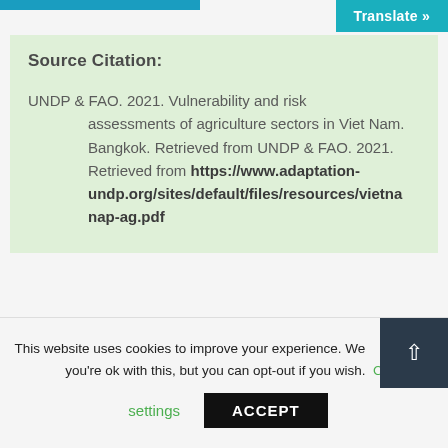Translate »
Source Citation:
UNDP & FAO. 2021. Vulnerability and risk assessments of agriculture sectors in Viet Nam. Bangkok. Retrieved from UNDP & FAO. 2021. Retrieved from https://www.adaptation-undp.org/sites/default/files/resources/vietnanap-ag.pdf
This website uses cookies to improve your experience. We'll assume you're ok with this, but you can opt-out if you wish.
settings
ACCEPT